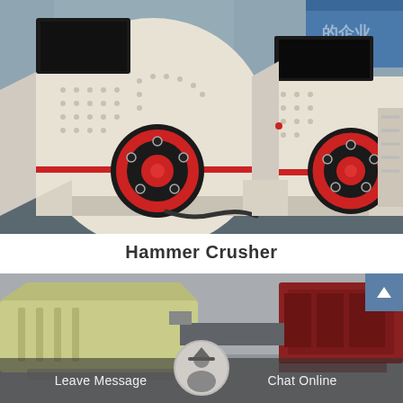[Figure (photo): Photograph of two large white Hammer Crusher industrial machines with red and black circular flywheel discs, parked on a concrete floor inside a factory. The machines have studded housing panels and triangular support bases.]
Hammer Crusher
[Figure (photo): Partial photograph of another industrial machine (likely a crusher or feeder) with yellowish-green and dark red/maroon colored components, partially visible at the bottom of the page. The image is cropped and a chat interface overlay appears at the bottom.]
Leave Message
Chat Online